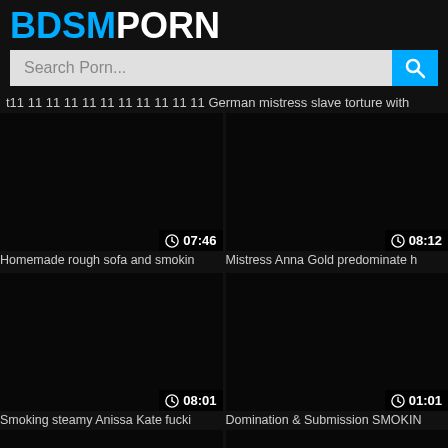BDSMPORN
Search Porn...
t11 11 11 11 11 11 11 11 11 11 11 German mistress slave torture with
[Figure (screenshot): Video thumbnail placeholder dark, duration 07:46]
Homemade rough sofa and smokin
[Figure (screenshot): Video thumbnail placeholder dark, duration 08:12]
Mistress Anna Gold predominate h
[Figure (screenshot): Video thumbnail placeholder dark, duration 08:01]
Smoking steamy Anissa Kate fucki
[Figure (screenshot): Video thumbnail placeholder dark, duration 01:01]
Domination & Submission SMOKIN